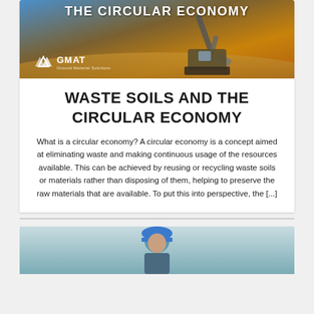[Figure (photo): Banner image showing an excavator/construction machinery against a sunset sky with text 'THE CIRCULAR ECONOMY' and GMAT logo]
WASTE SOILS AND THE CIRCULAR ECONOMY
What is a circular economy? A circular economy is a concept aimed at eliminating waste and making continuous usage of the resources available. This can be achieved by reusing or recycling waste soils or materials rather than disposing of them, helping to preserve the raw materials that are available. To put this into perspective, the [...]
[Figure (photo): Partial image showing a person wearing a blue hard hat, likely a construction worker or engineer]